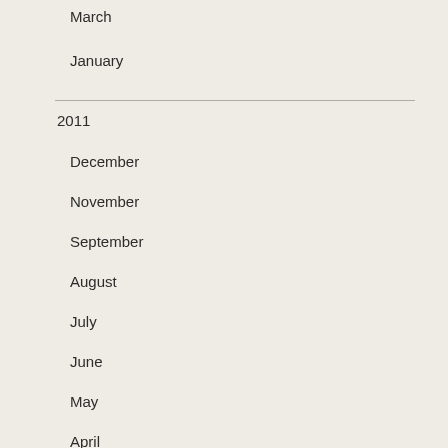March
January
2011
December
November
September
August
July
June
May
April
March
February